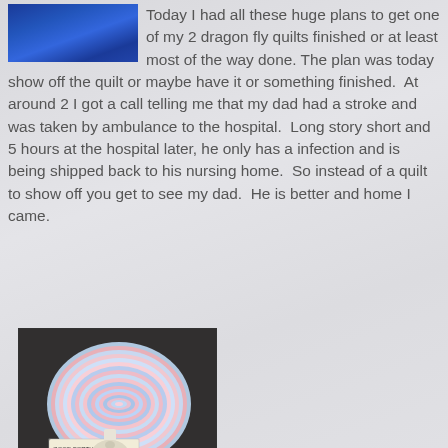[Figure (photo): Blue fabric/clothing photo cropped at top left corner]
Today I had all these huge plans to get one of my 2 dragon fly quilts finished or at least most of the way done. The plan was today show off the quilt or maybe have it or something finished. At around 2 I got a call telling me that my dad had a stroke and was taken by ambulance to the hospital. Long story short and 5 hours at the hospital later, he only has a infection and is being shipped back to his nursing home. So instead of a quilt to show off you get to see my dad. He is better and home I came.
[Figure (photo): A rolled jelly roll of fabric strips in pastel colors (pink, blue, white) with a label reading 'GOOD FORTUNE' tied with a bow, sitting on a dark granite surface.]